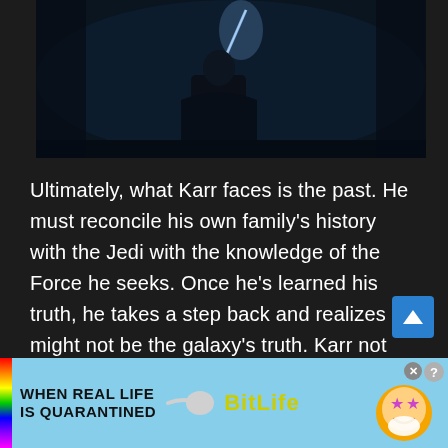[Figure (photo): Dark cinematic scene showing a figure holding a blue lightsaber in a dimly lit environment]
Ultimately, what Karr faces is the past. He must reconcile his own family’s history with the Jedi with the knowledge of the Force he seeks. Once he’s learned his truth, he takes a step back and realizes it might not be the galaxy’s truth. Karr not only wants to protect his family and friends, he wants to tell the story of what he’s learned. He’s been
[Figure (infographic): BitLife advertisement banner with rainbow stripe, text reading WHEN REAL LIFE IS QUARANTINED, sperm graphic, BitLife logo in yellow, and mascot emoji character]